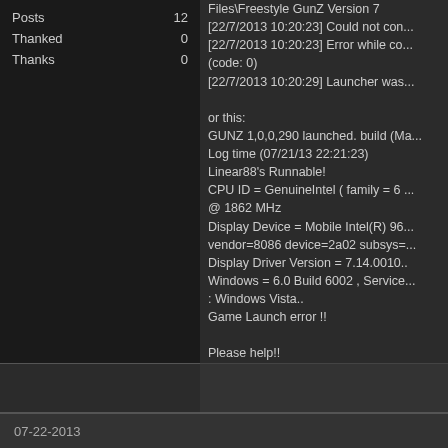|  |  |
| --- | --- |
| Posts | 12 |
| Thanked | 0 |
| Thanks | 0 |
Files\Freestyle GunZ Version 7
[22/7/2013 10:20:23] Could not con...
[22/7/2013 10:20:23] Error while co... (code: 0)
[22/7/2013 10:20:29] Launcher was...
or this:
GUNZ 1,0,0,290 launched. build (Ma...
Log time (07/21/13 22:21:23)
Linear88's Runnable!
CPU ID = GenuineIntel ( family = 6 ... @ 1862 MHz
Display Device = Mobile Intel(R) 96...
vendor=8086 device=2a02 subsys=...
Display Driver Version = 7.14.0010....
Windows = 6.0 Build 6002 , Service... : Windows Vista..
Game Launch error !!
Please help!!
07-22-2013
[Figure (photo): Avatar image with colorful anime/game character]
Your firewall or antivirus is blocking... to our patch server, same with the r...